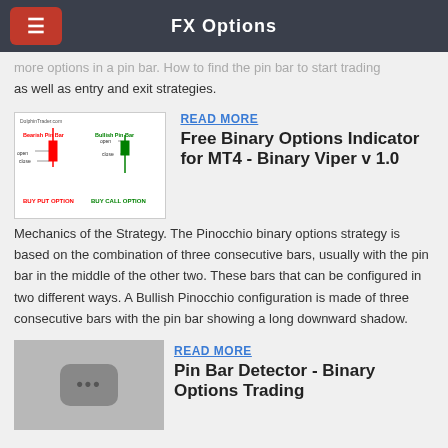FX Options
more options in a pin bar. How to find the pin bar to start trading as well as entry and exit strategies.
[Figure (illustration): Thumbnail diagram from DolphinTrader.com showing Bearish Pin Bar (red, BUY PUT OPTION) and Bullish Pin Bar (green, BUY CALL OPTION) candlestick diagrams with open/close labels]
READ MORE
Free Binary Options Indicator for MT4 - Binary Viper v 1.0
Mechanics of the Strategy. The Pinocchio binary options strategy is based on the combination of three consecutive bars, usually with the pin bar in the middle of the other two. These bars that can be configured in two different ways. A Bullish Pinocchio configuration is made of three consecutive bars with the pin bar showing a long downward shadow.
[Figure (photo): Gray placeholder thumbnail showing a rounded rectangle icon with three dots]
READ MORE
Pin Bar Detector - Binary Options Trading